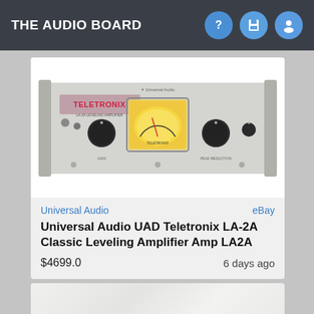THE AUDIO BOARD
[Figure (photo): Photo of a Universal Audio UAD Teletronix LA-2A Classic Leveling Amplifier, a rack-mounted audio compressor unit with silver/grey chassis, Teletronix branding in pink/red, large VU meter in center, multiple rotary knobs, and Universal Audio logo at top center.]
Universal Audio
eBay
Universal Audio UAD Teletronix LA-2A Classic Leveling Amplifier Amp LA2A
$4699.0
6 days ago
[Figure (photo): Partial photo visible at bottom of page, appears to show a light-colored fabric or white surface.]